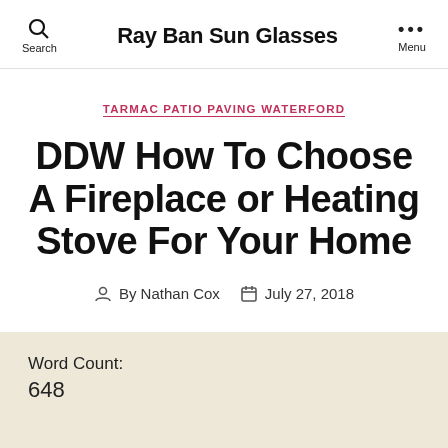Ray Ban Sun Glasses
TARMAC PATIO PAVING WATERFORD
DDW How To Choose A Fireplace or Heating Stove For Your Home
By Nathan Cox   July 27, 2018
Word Count:
648